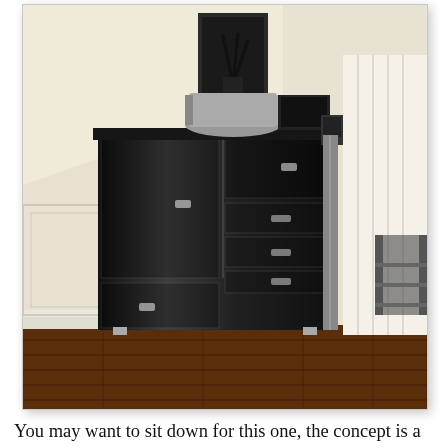[Figure (photo): A tall black glossy sideboard/wardrobe cabinet with chrome hardware, placed in a room corner with slanted ceiling, hardwood floors, white walls and curtains. On top sits a silver cylindrical object and a flat screen device. A framed picture hangs on the wall above.]
You may want to sit down for this one, the concept is a little abstract I admit. This sideboard, isn't actually a sideboard. It's a grand piano. No, it doesn't fold out in a spectacular origami display like the Boxetti Television either. I wanted a